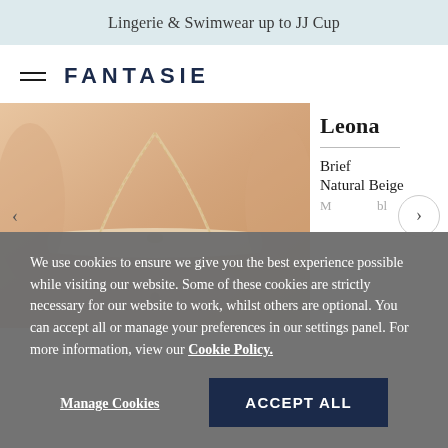Lingerie & Swimwear up to JJ Cup
FANTASIE
[Figure (photo): Product image of a Fantasie Leona Brief in Natural Beige lingerie, showing the waist/torso area of a model wearing a beige bra with delicate lace straps.]
Leona
Brief
Natural Beige
We use cookies to ensure we give you the best experience possible while visiting our website. Some of these cookies are strictly necessary for our website to work, whilst others are optional. You can accept all or manage your preferences in our settings panel. For more information, view our Cookie Policy.
Manage Cookies
ACCEPT ALL